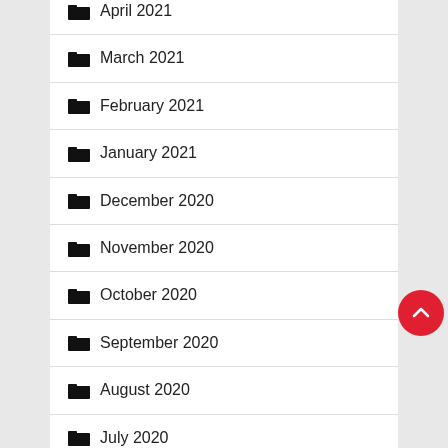April 2021
March 2021
February 2021
January 2021
December 2020
November 2020
October 2020
September 2020
August 2020
July 2020
June 2020